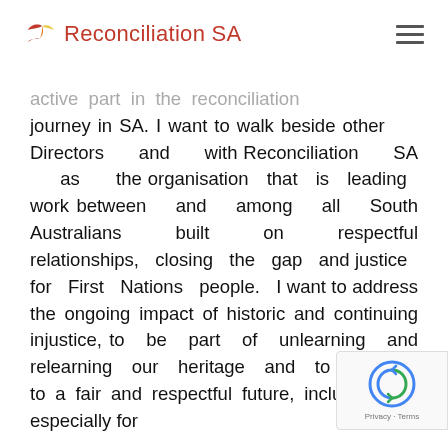Reconciliation SA
active part in the reconciliation journey in SA. I want to walk beside other Directors and with Reconciliation SA as the organisation that is leading work between and among all South Australians built on respectful relationships, closing the gap and justice for First Nations people. I want to address the ongoing impact of historic and continuing injustice, to be part of unlearning and relearning our heritage and to contribute to a fair and respectful future, including and especially for